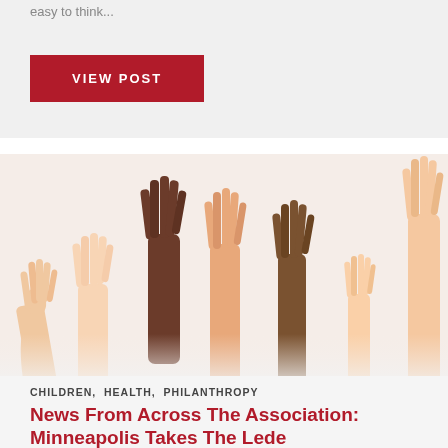easy to think...
VIEW POST
[Figure (photo): Multiple diverse hands raised up against a white background, showing people of different skin tones with arms raised]
CHILDREN,  HEALTH,  PHILANTHROPY
News From Across The Association: Minneapolis Takes The Lede